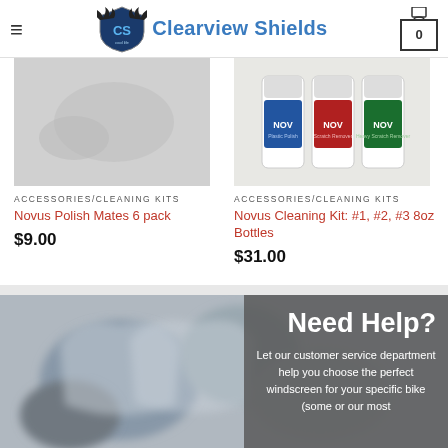Clearview Shields — navigation header with logo, hamburger menu, and cart (0)
[Figure (photo): Product image placeholder for Novus Polish Mates 6 pack (grey/blurred background)]
ACCESSORIES/CLEANING KITS
Novus Polish Mates 6 pack
$9.00
[Figure (photo): Photo of three Novus cleaning product bottles (blue, red, green labels)]
ACCESSORIES/CLEANING KITS
Novus Cleaning Kit: #1, #2, #3 8oz Bottles
$31.00
[Figure (photo): Blurred photo of motorcycles/windscreens at a show or dealership]
Need Help?
Let our customer service department help you choose the perfect windscreen for your specific bike (some or our most